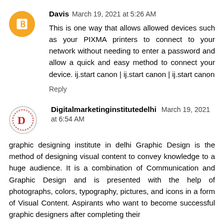[Figure (illustration): Orange circle avatar with white blogger 'B' icon inside]
Davis March 19, 2021 at 5:26 AM
This is one way that allows allowed devices such as your PIXMA printers to connect to your network without needing to enter a password and allow a quick and easy method to connect your device. ij.start canon | ij.start canon | ij.start canon
Reply
[Figure (logo): Circular logo with red 'D' letter and decorative red dotted border on white background]
Digitalmarketinginstitutedelhi March 19, 2021 at 6:54 AM
graphic designing institute in delhi Graphic Design is the method of designing visual content to convey knowledge to a huge audience. It is a combination of Communication and Graphic Design and is presented with the help of photographs, colors, typography, pictures, and icons in a form of Visual Content. Aspirants who want to become successful graphic designers after completing their